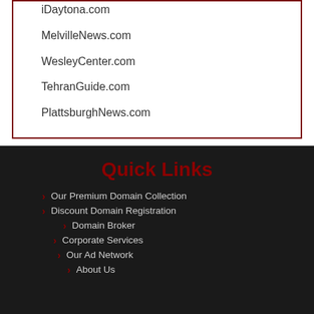iDaytona.com
MelvilleNews.com
WesleyCenter.com
TehranGuide.com
PlattsburghNews.com
Quick Links
Our Premium Domain Collection
Discount Domain Registration
Domain Broker
Corporate Services
Our Ad Network
About Us